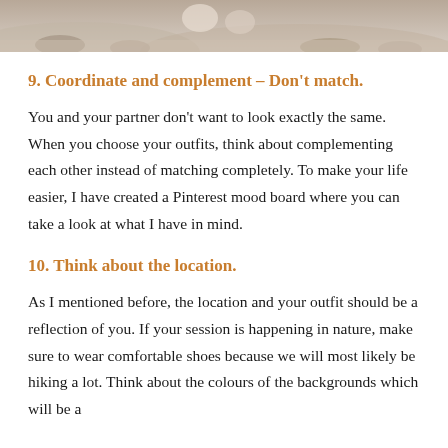[Figure (photo): Partial photo at top of page showing people in light-colored clothing on a rocky/sandy outdoor setting]
9. Coordinate and complement – Don't match.
You and your partner don't want to look exactly the same. When you choose your outfits, think about complementing each other instead of matching completely. To make your life easier, I have created a Pinterest mood board where you can take a look at what I have in mind.
10. Think about the location.
As I mentioned before, the location and your outfit should be a reflection of you. If your session is happening in nature, make sure to wear comfortable shoes because we will most likely be hiking a lot. Think about the colours of the backgrounds which will be a